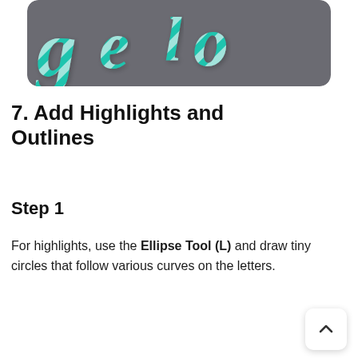[Figure (illustration): Decorative candy-cane striped teal and white cursive text on a dark grey rounded rectangle background, showing stylized letters.]
7. Add Highlights and Outlines
Step 1
For highlights, use the Ellipse Tool (L) and draw tiny circles that follow various curves on the letters.